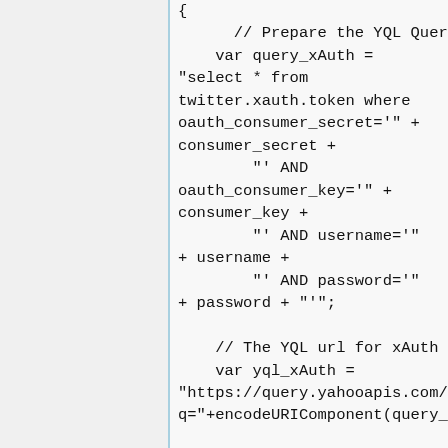[Figure (screenshot): Code snippet showing JavaScript with YQL query construction for xAuth Twitter authentication, including variable declarations for query_xAuth and yql_xAuth URLs.]